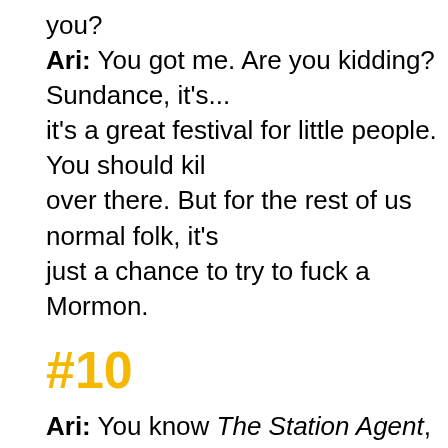you?
Ari: You got me. Are you kidding? Sundance, it's... it's a great festival for little people. You should kil over there. But for the rest of us normal folk, it's just a chance to try to fuck a Mormon.
#10
Ari: You know The Station Agent, Eric?
Eric: Yeah.
Ari: Monster fuckin hit at Sundance. Did you see it? It's about the midget who lives by the train tracks. The last time I saw him he was in a FedEx commercial. They were overnighting him to